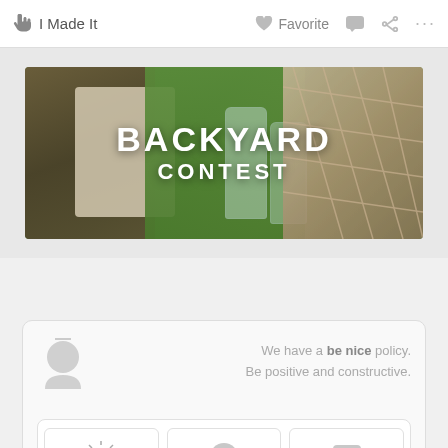I Made It   Favorite   [comment icon]   [share icon]   ...
[Figure (photo): Backyard Contest banner image showing wicker baskets, macrame item, mason jars, and a rope swing chair in a garden setting with text 'BACKYARD CONTEST']
We have a be nice policy. Be positive and constructive.
[Figure (infographic): Comment action buttons: Tip (lightbulb icon), Question (question mark icon), Comment (speech bubble icon)]